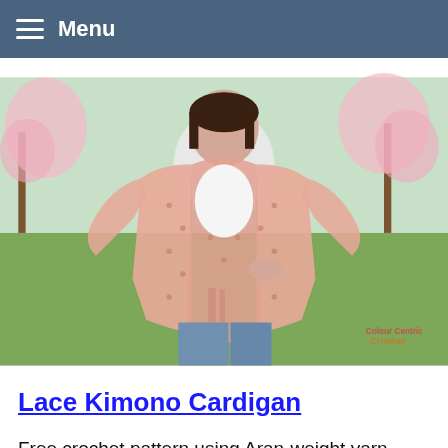Menu
[Figure (photo): Woman wearing a pink lace crochet kimono cardigan with tie belt, standing outdoors with cherry blossom trees in background. Watermark reads 'Colour Centric Crochet'.]
Lace Kimono Cardigan
Free crochet pattern using Aran-weight yarn.